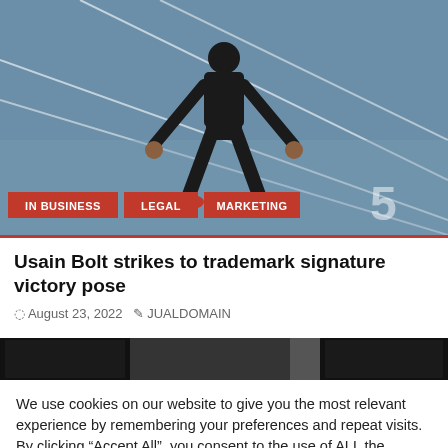[Figure (photo): Athlete (Usain Bolt) in starting position on a running track, viewed from front. Red category tags overlaid at bottom: IN BUSINESS, LEGAL, MARKETING]
Usain Bolt strikes to trademark signature victory pose
August 23, 2022   JUALDOMAIN
[Figure (photo): Partial view of another article's image - dark strip showing parts of a photo]
We use cookies on our website to give you the most relevant experience by remembering your preferences and repeat visits. By clicking “Accept All”, you consent to the use of ALL the cookies. However, you may visit "Cookie Settings" to provide a controlled consent.
Cookie Settings   Accept All